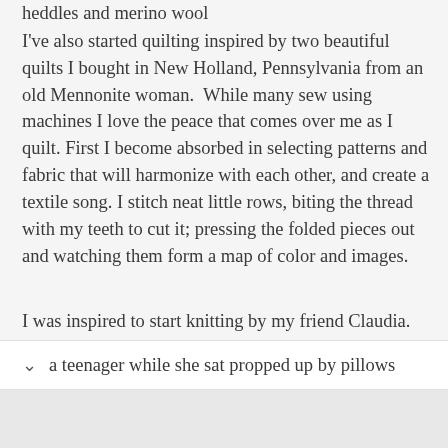heddles and merino wool
I've also started quilting inspired by two beautiful quilts I bought in New Holland, Pennsylvania from an old Mennonite woman.  While many sew using machines I love the peace that comes over me as I quilt. First I become absorbed in selecting patterns and fabric that will harmonize with each other, and create a textile song. I stitch neat little rows, biting the thread with my teeth to cut it; pressing the folded pieces out and watching them form a map of color and images.
I was inspired to start knitting by my friend Claudia. She visited recently and I would make her tea in the morning then sprawl across the bottom of the bed a teenager while she sat propped up by pillows